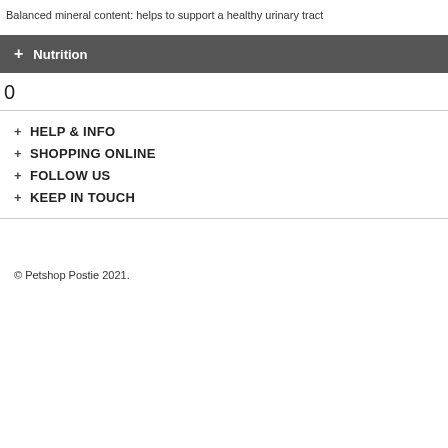Balanced mineral content: helps to support a healthy urinary tract
+ Nutrition
0
+ HELP & INFO
+ SHOPPING ONLINE
+ FOLLOW US
+ KEEP IN TOUCH
© Petshop Postie 2021.